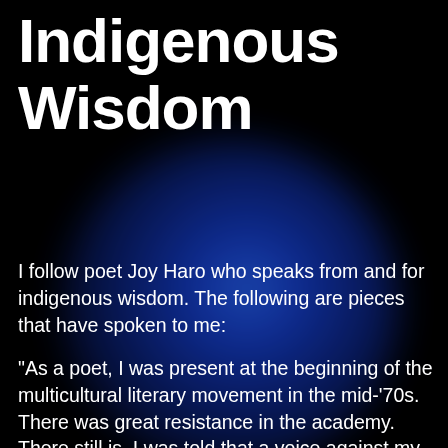Indigenous Wisdom
I follow poet Joy Haro who speaks from and for indigenous wisdom. The following are pieces that have spoken to me:
“As a poet, I was present at the beginning of the multicultural literary movement in the mid-’70s. There was great resistance in the academy. There still is. I was told that a voice against my hire in a major university believed that multicultural literature was a sham. This was in